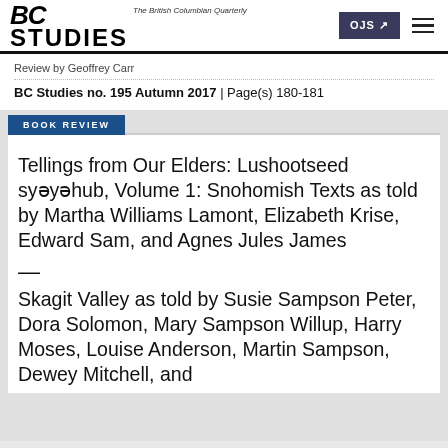BC Studies — The British Columbian Quarterly
Review by Geoffrey Carr
BC Studies no. 195 Autumn 2017 | Page(s) 180-181
BOOK REVIEW
Tellings from Our Elders: Lushootseed syəyəhub, Volume 1: Snohomish Texts as told by Martha Williams Lamont, Elizabeth Krise, Edward Sam, and Agnes Jules James
—
Skagit Valley as told by Susie Sampson Peter, Dora Solomon, Mary Sampson Willup, Harry Moses, Louise Anderson, Martin Sampson, Dewey Mitchell, and